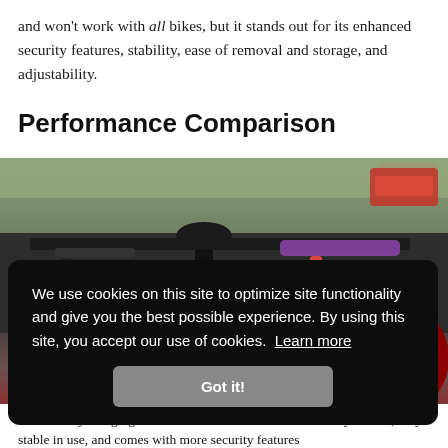and won't work with all bikes, but it stands out for its enhanced security features, stability, ease of removal and storage, and adjustability.
Performance Comparison
[Figure (photo): Photo of a vehicle rooftop bike rack (Outway Hanging 2) loaded with 2 bikes, viewed from behind. Red car visible in background. Outdoor suburban setting with trees.]
We use cookies on this site to optimize site functionality and give you the best possible experience. By using this site, you accept our use of cookies. Learn more
Got it!
The Outway Hanging 2 loaded with 2 bikes. This rack is easy to load, very stable in use, and comes with more security features